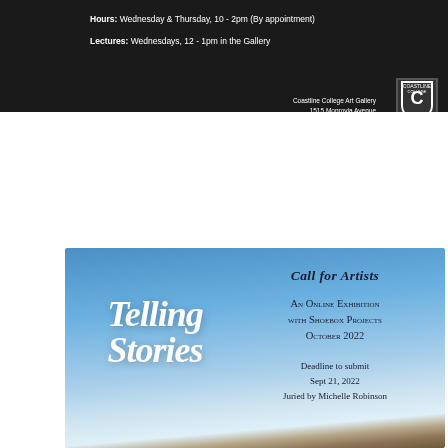Hours: Wednesday & Thursday, 10 - 2pm (By appointment)
Lectures: Wednesdays, 12 - 1pm in the Gallery
Coastline College Art Gallery
1515 Monrovia Avenue
Newport Beach, CA 92663
coastline.edu/artgallery
dlee1@coastline.edu
[Figure (logo): Coastline College shield logo in white on dark background]
[Figure (infographic): Telling Stories exhibition call for artists poster with blue sky background. Left side shows 'Telling Stories' in large italic serif font. Right side shows 'CALL FOR ARTISTS', 'An Online Exhibition with Shoebox Projects October 2022', 'Deadline to submit Sept 21, 2022 Juried by Michelle Robinson']